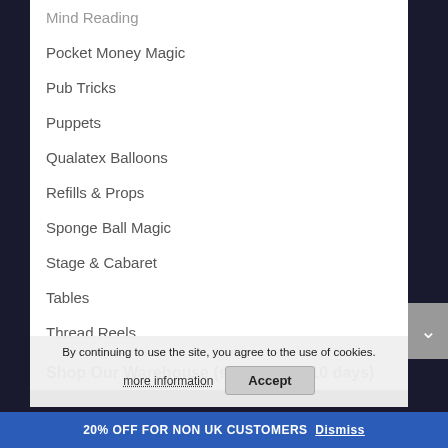Mind Reading
Pocket Money Magic
Pub Tricks
Puppets
Qualatex Balloons
Refills & Props
Sponge Ball Magic
Stage & Cabaret
Tables
Thread Reels
Shop Our Warehouse (ships in 7 – 10 days)
Back in Stock
Beginner Magic
By continuing to use the site, you agree to the use of cookies.
more information   Accept
20% OFF FOR NON UK CUSTOMERS Dismiss